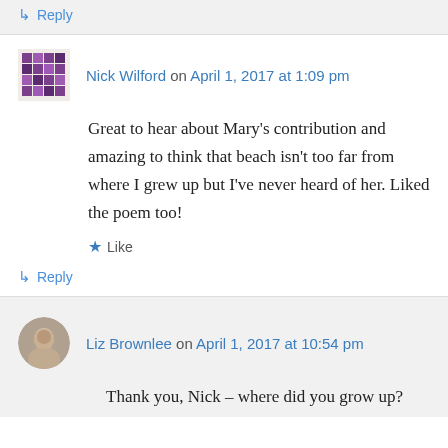↳ Reply
Nick Wilford on April 1, 2017 at 1:09 pm
Great to hear about Mary's contribution and amazing to think that beach isn't too far from where I grew up but I've never heard of her. Liked the poem too!
★ Like
↳ Reply
Liz Brownlee on April 1, 2017 at 10:54 pm
Thank you, Nick – where did you grow up?